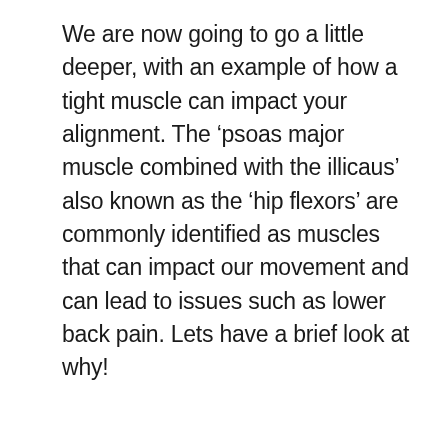We are now going to go a little deeper, with an example of how a tight muscle can impact your alignment. The ‘psoas major muscle combined with the illicaus’ also known as the ‘hip flexors’ are commonly identified as muscles that can impact our movement and can lead to issues such as lower back pain. Lets have a brief look at why!